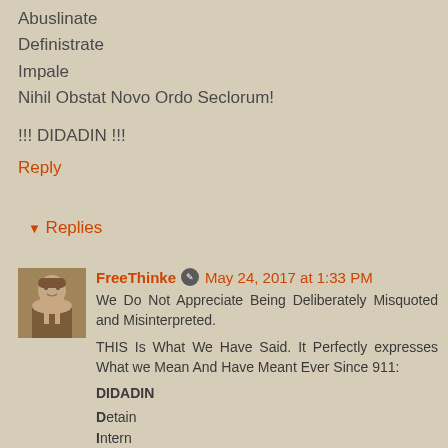Abuslinate
Definistrate
Impale
Nihil Obstat Novo Ordo Seclorum!
!!! DIDADIN !!!
Reply
▼ Replies
FreeThinke 🖊 May 24, 2017 at 1:33 PM
We Do Not Appreciate Being Deliberately Misquoted and Misinterpreted.

THIS Is What We Have Said. It Perfectly expresses What we Mean And Have Meant Ever Since 911:

DIDADIN

Detain
Intern